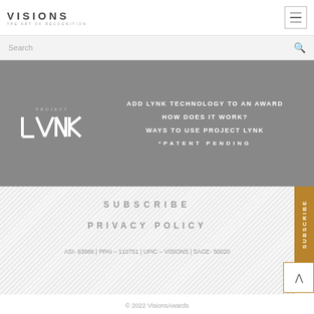VISIONS THE ART OF RECOGNITION
Search
[Figure (screenshot): Project LYNK logo with navigation links: ADD LYNK TECHNOLOGY TO AN AWARD, HOW DOES IT WORK?, WAYS TO USE PROJECT LYNK, *PATENT PENDING]
SERVICES
SUBSCRIBE
PRIVACY POLICY
ASI- 93986 | PPAI – 110751 | UPIC – VISIONS | SAGE- 50020
© 2022 VisionsAwards